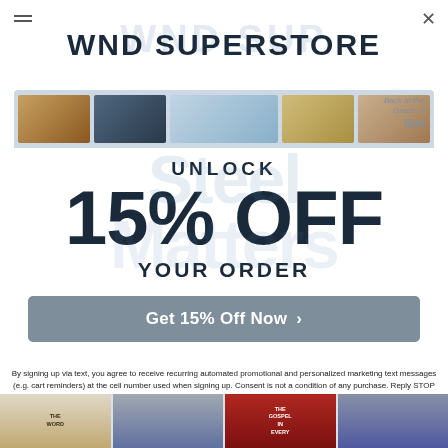WND SUPERSTORE
[Figure (infographic): Promotional popup modal for WND Superstore offering 15% off with a call-to-action button 'Get 15% Off Now'. Background shows faded book covers and watermark text 'Steel Matters'.]
UNLOCK
15% OFF
YOUR ORDER
Get 15% Off Now
By signing up via text, you agree to receive recurring automated promotional and personalized marketing text messages (e.g. cart reminders) at the cell number used when signing up. Consent is not a condition of any purchase. Reply STOP to cancel. Msg frequency varies. Msg and data rates may apply. View Privacy Policy.